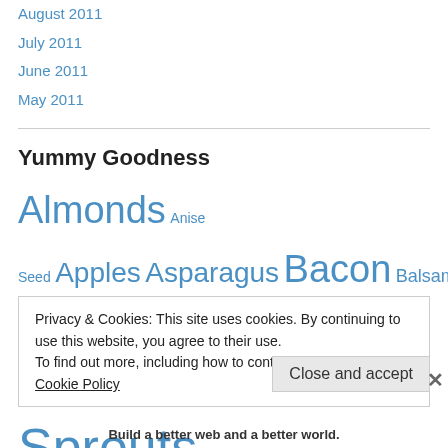August 2011
July 2011
June 2011
May 2011
Yummy Goodness
Almonds Anise Seed Apples Asparagus Bacon Balsamic Vinegar Beef Black Beans Broccoli Brussels Sprouts Butter Cabbage Carrots Cauliflower Celery Cheese Cherries Chevre
Privacy & Cookies: This site uses cookies. By continuing to use this website, you agree to their use.
To find out more, including how to control cookies, see here: Cookie Policy
Build a better web and a better world.